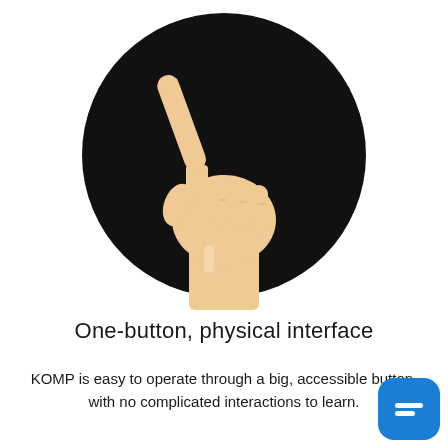[Figure (illustration): A hand with index finger pointing upward, shown against a black circle background. The hand is rendered in a flat illustration style with skin-tone color.]
One-button, physical interface
KOMP is easy to operate through a big, accessible button, with no complicated interactions to learn.